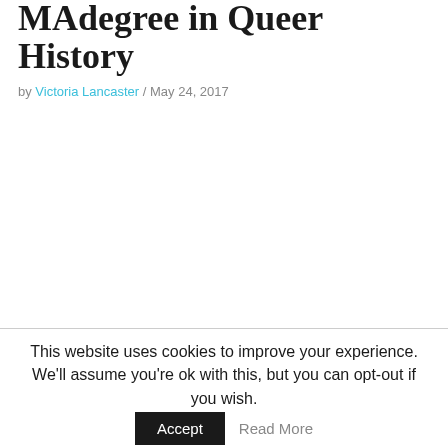MAdegree in Queer History
by Victoria Lancaster / May 24, 2017
This website uses cookies to improve your experience. We'll assume you're ok with this, but you can opt-out if you wish.
Accept   Read More